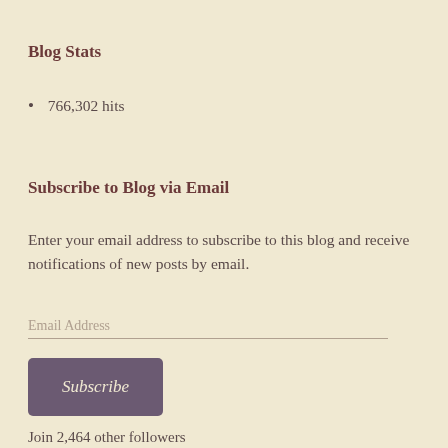Blog Stats
766,302 hits
Subscribe to Blog via Email
Enter your email address to subscribe to this blog and receive notifications of new posts by email.
Email Address
Subscribe
Join 2,464 other followers